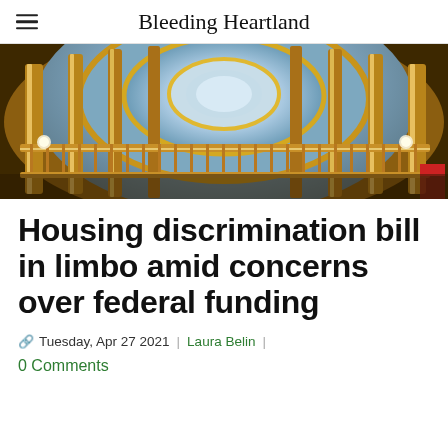Bleeding Heartland
[Figure (photo): Interior view of a capitol building rotunda dome, ornate gilded architecture with circular balcony and decorative ceiling]
Housing discrimination bill in limbo amid concerns over federal funding
Tuesday, Apr 27 2021 | Laura Belin |
0 Comments